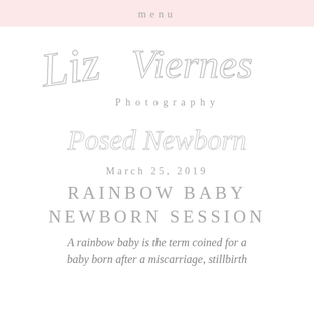menu
[Figure (logo): Liz Viernes Photography script logo with cursive handwritten text and 'Photography' in spaced serif below]
[Figure (logo): Posed Newborn in cursive script text]
March 25, 2019
RAINBOW BABY NEWBORN SESSION
A rainbow baby is the term coined for a baby born after a miscarriage, stillbirth